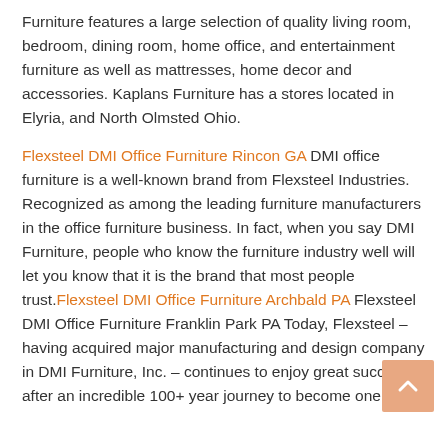Furniture features a large selection of quality living room, bedroom, dining room, home office, and entertainment furniture as well as mattresses, home decor and accessories. Kaplans Furniture has a stores located in Elyria, and North Olmsted Ohio.
Flexsteel DMI Office Furniture Rincon GA DMI office furniture is a well-known brand from Flexsteel Industries. Recognized as among the leading furniture manufacturers in the office furniture business. In fact, when you say DMI Furniture, people who know the furniture industry well will let you know that it is the brand that most people trust. Flexsteel DMI Office Furniture Archbald PA Flexsteel DMI Office Furniture Franklin Park PA Today, Flexsteel – having acquired major manufacturing and design company in DMI Furniture, Inc. – continues to enjoy great success after an incredible 100+ year journey to become one of the